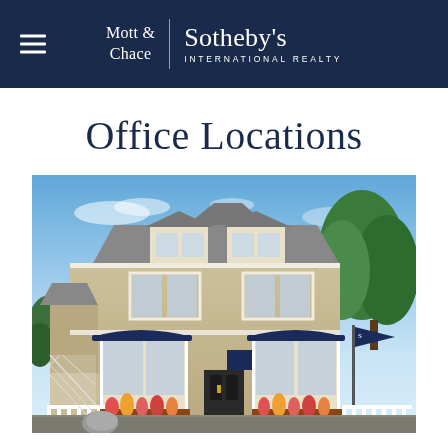Mott & Chace | Sotheby's International Realty
Office Locations
[Figure (photo): Exterior photograph of a two-story beige/tan commercial building with navy blue awnings over the storefront windows and entrance door. The building has bay windows on the upper floor, white trim, and a decorative white fence. A Sotheby's flag is visible at the right side. Flower boxes with colorful flowers are at the front. Blue sky with light clouds in the background, green trees visible to the right.]